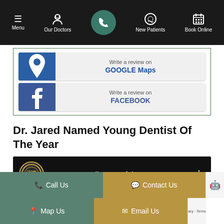Menu | Our Doctors | [Phone] | New Patients | Book Online
[Figure (screenshot): Write a review on GOOGLE Maps button with Google Maps pin icon on blue background]
[Figure (screenshot): Write a review on FACEBOOK button with Facebook 'f' logo on blue background]
Dr. Jared Named Young Dentist Of The Year
[Figure (screenshot): Crown Council Team of the Year video thumbnail with Crown Council circular logo on black background]
Call Us | Contact Us | Map Us | Email Us